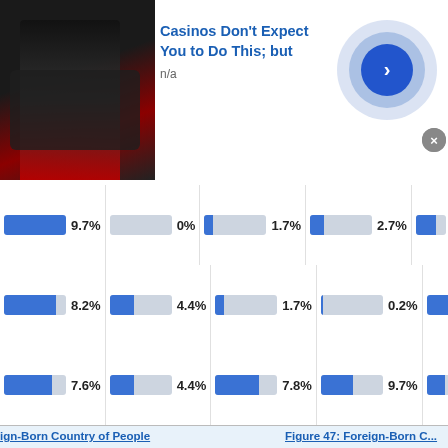[Figure (screenshot): Advertisement banner: 'Casinos Don't Expect You to Do This; but' with n/a subtitle, person image on left, blue circular CTA arrow button on right, close X button]
[Figure (bar-chart): Bar chart rows showing percentages]
[Figure (bar-chart): Row 2 percentages]
[Figure (bar-chart): Row 3 percentages]
Figure 46: Foreign-Born Country of People in Union County, GA
Figure 47: Foreign-Born Country of people in the United
[Figure (screenshot): Advertisement: Groupon Official Site | Online Shopping Deals. Discover & Save with Over 300k of the Best Deals. www.groupon.com. Blue circular CTA arrow button on right, close X button.]